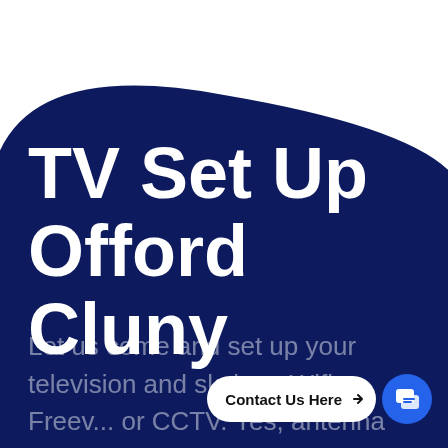[Figure (illustration): Dark navy blue organic blob/wave shape covering the upper portion of the page, with white background visible at the top corners]
TV Set Up Offord Cluny
Let us come and set up your television and skybox. Wifi, Freev... or CCTV. Yes, antenna services ca...